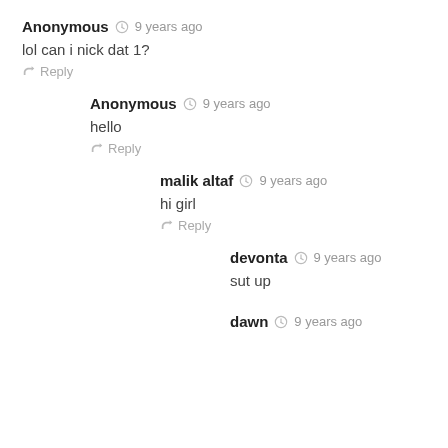Anonymous  9 years ago
lol can i nick dat 1?
Reply
Anonymous  9 years ago
hello
Reply
malik altaf  9 years ago
hi girl
Reply
devonta  9 years ago
sut up
dawn  9 years ago